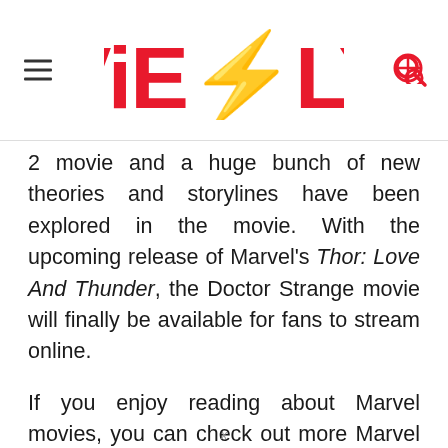ViEBLY
2 movie and a huge bunch of new theories and storylines have been explored in the movie. With the upcoming release of Marvel's Thor: Love And Thunder, the Doctor Strange movie will finally be available for fans to stream online.
If you enjoy reading about Marvel movies, you can check out more Marvel [content continues below fold]